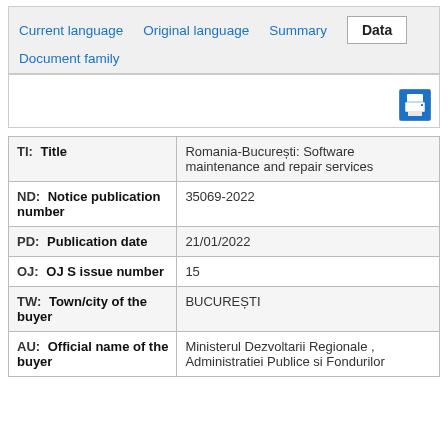Current language  Original language  Summary  Data  Document family
| Code / Field | Value |
| --- | --- |
| TI: Title | Romania-București: Software maintenance and repair services |
| ND: Notice publication number | 35069-2022 |
| PD: Publication date | 21/01/2022 |
| OJ: OJ S issue number | 15 |
| TW: Town/city of the buyer | BUCUREȘTI |
| AU: Official name of the buyer | Ministerul Dezvoltarii Regionale , Administratiei Publice si Fondurilor |